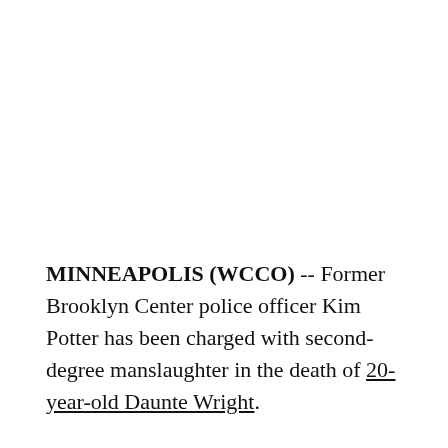MINNEAPOLIS (WCCO) -- Former Brooklyn Center police officer Kim Potter has been charged with second-degree manslaughter in the death of 20-year-old Daunte Wright.
Washington County Attorney Pete Orput announced the charges Wednesday, saying Potter, 48, was taken into custody by Minnesota Bureau of Criminal